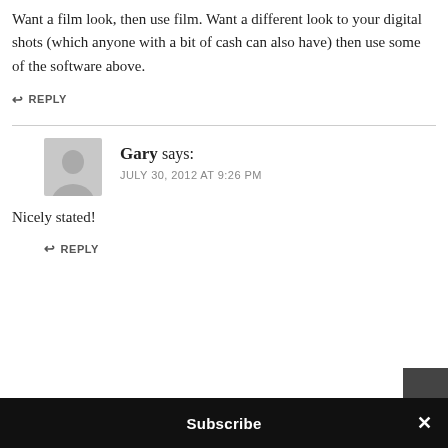Want a film look, then use film. Want a different look to your digital shots (which anyone with a bit of cash can also have) then use some of the software above.
↩ REPLY
[Figure (other): Gray avatar/profile placeholder image showing a generic person silhouette]
Gary says: JULY 30, 2012 AT 9:26 PM
Nicely stated!
↩ REPLY
Subscribe ×